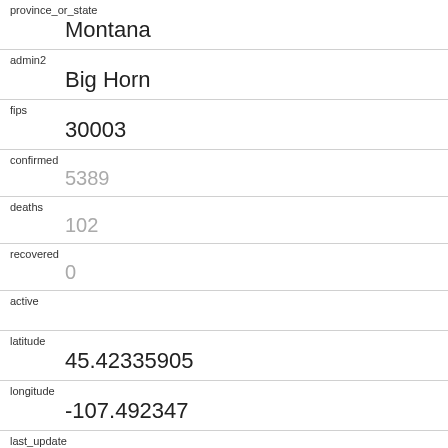province_or_state
    Montana
admin2
    Big Horn
fips
    30003
confirmed
    5389
deaths
    102
recovered
    0
active
latitude
    45.42335905
longitude
    -107.492347
last_update
    2022-08-29 04:21:06
combined_key